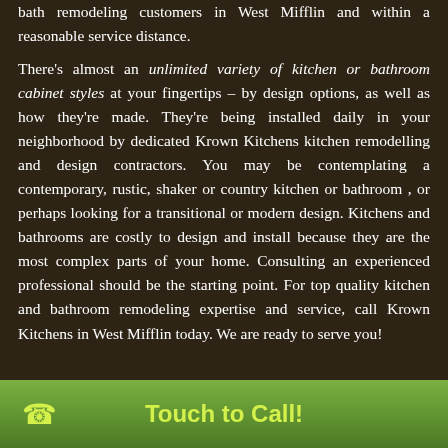bath remodeling customers in West Mifflin and within a reasonable service distance.

There's almost an unlimited variety of kitchen or bathroom cabinet styles at your fingertips – by design options, as well as how they're made. They're being installed daily in your neighborhood by dedicated Krown Kitchens kitchen remodelling and design contractors. You may be contemplating a contemporary, rustic, shaker or country kitchen or bathroom , or perhaps looking for a transitional or modern design. Kitchens and bathrooms are costly to design and install because they are the most complex parts of your home. Consulting an experienced professional should be the starting point. For top quality kitchen and bathroom remodeling expertise and service, call Krown Kitchens in West Mifflin today. We are ready to serve you!
Touch to Call!